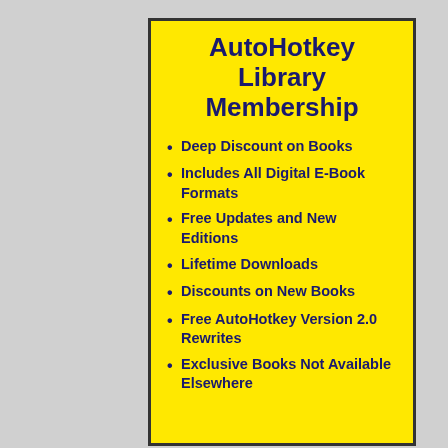AutoHotkey Library Membership
Deep Discount on Books
Includes All Digital E-Book Formats
Free Updates and New Editions
Lifetime Downloads
Discounts on New Books
Free AutoHotkey Version 2.0 Rewrites
Exclusive Books Not Available Elsewhere